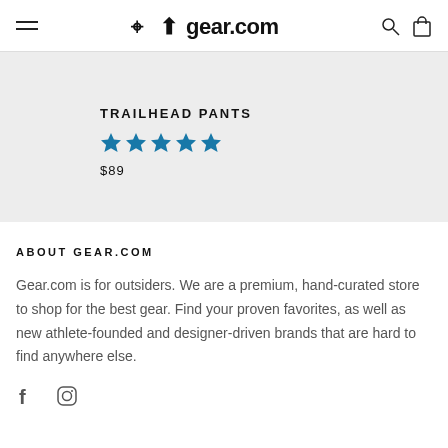gear.com
TRAILHEAD PANTS
★★★★★
$89
WANDR... DUFFEL
FROM $2...
ABOUT GEAR.COM
Gear.com is for outsiders. We are a premium, hand-curated store to shop for the best gear. Find your proven favorites, as well as new athlete-founded and designer-driven brands that are hard to find anywhere else.
[Figure (logo): Facebook and Instagram social media icons]